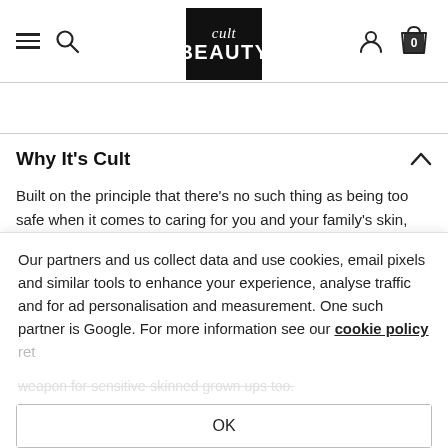Cult Beauty — navigation header with hamburger menu, search, logo, user and bag icons
Why It's Cult
Built on the principle that there's no such thing as being too safe when it comes to caring for you and your family's skin, Evereden prides itself on being "made by Moms in Medicine". That means multi-generational skin care, developed by a team of doctors who are themselves mothers. Mums know...
Our partners and us collect data and use cookies, email pixels and similar tools to enhance your experience, analyse traffic and for ad personalisation and measurement. One such partner is Google. For more information see our cookie policy
OK